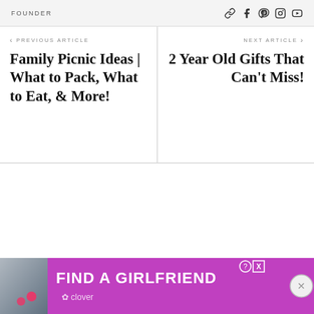FOUNDER
‹ PREVIOUS ARTICLE
Family Picnic Ideas | What to Pack, What to Eat, & More!
NEXT ARTICLE ›
2 Year Old Gifts That Can't Miss!
[Figure (infographic): Advertisement banner: photo of a woman with pink hearts, purple background, text 'FIND A GIRLFRIEND' with Clover branding, close buttons]